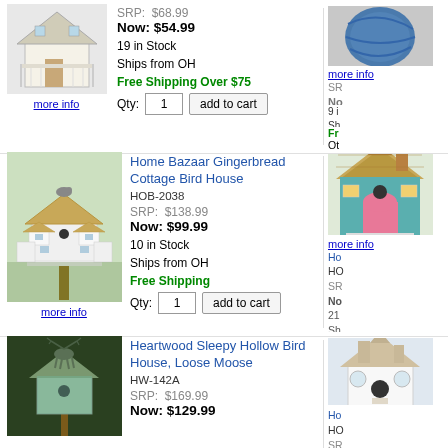[Figure (photo): Birdhouse product photo top left]
more info
SRP: $68.99
Now: $54.99
19 in Stock
Ships from OH
Free Shipping Over $75
Qty: 1  add to cart
[Figure (photo): Birdhouse product photo top right (partial)]
more info
9 i...
Sh...
[Figure (photo): Home Bazaar Gingerbread Cottage Bird House product photo]
more info
Home Bazaar Gingerbread Cottage Bird House
HOB-2038
SRP: $138.99
Now: $99.99
10 in Stock
Ships from OH
Free Shipping
Qty: 1  add to cart
[Figure (photo): Colorful cottage birdhouse right column]
more info
Ho...
HO...
SR...
No...
21...
Sh...
Fr...
Qt...
[Figure (photo): Heartwood Sleepy Hollow Bird House, Loose Moose product photo]
Heartwood Sleepy Hollow Bird House, Loose Moose
HW-142A
SRP: $169.99
Now: $129.99
[Figure (photo): White birdhouse bottom right (partial)]
Ho...
HO...
SR...
No...